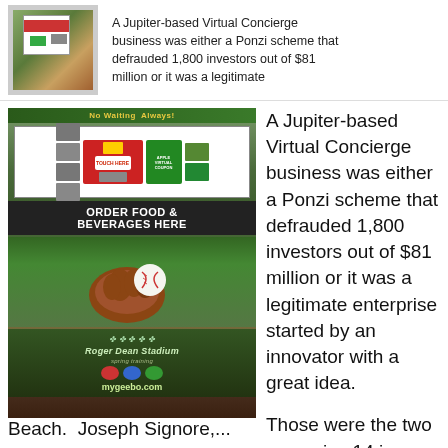[Figure (photo): Small thumbnail of a Virtual Concierge kiosk machine with screen showing food ordering interface]
A Jupiter-based Virtual Concierge business was either a Ponzi scheme that defrauded 1,800 investors out of $81 million or it was a legitimate
[Figure (photo): Large photo of a Virtual Concierge kiosk with 'ORDER FOOD & BEVERAGES HERE' text, baseball glove and ball graphics, and mygeebo.com branding]
A Jupiter-based Virtual Concierge business was either a Ponzi scheme that defrauded 1,800 investors out of $81 million or it was a legitimate enterprise started by an innovator with a great idea.

Those were the two scenarios 14 jurors heard Tuesday in attorneys' closing arguments in federal court in West Palm
Beach.  Joseph Signore,...